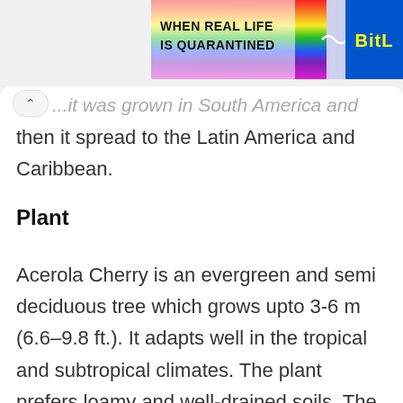[Figure (screenshot): Advertisement banner with rainbow gradient and text 'WHEN REAL LIFE IS QUARANTINED' with 'BitL' logo in yellow on blue background]
...it was grown in South America and then it spread to the Latin America and Caribbean.
Plant
Acerola Cherry is an evergreen and semi deciduous tree which grows upto 3-6 m (6.6–9.8 ft.). It adapts well in the tropical and subtropical climates. The plant prefers loamy and well-drained soils. The leaves are elliptical,